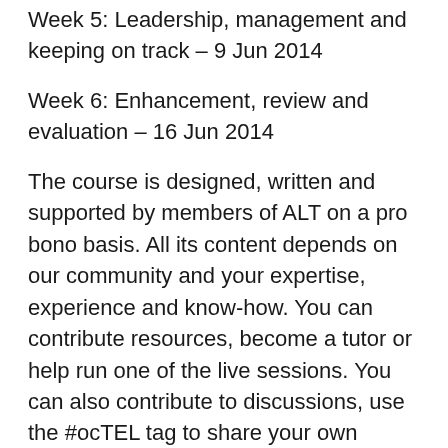Week 5: Leadership, management and keeping on track – 9 Jun 2014
Week 6: Enhancement, review and evaluation – 16 Jun 2014
The course is designed, written and supported by members of ALT on a pro bono basis. All its content depends on our community and your expertise, experience and know-how. You can contribute resources, become a tutor or help run one of the live sessions. You can also contribute to discussions, use the #ocTEL tag to share your own content across the web.
All content of the course is published under a creative commons licence (CC-BY), which means that you can re-use it, share it and re-mix it.